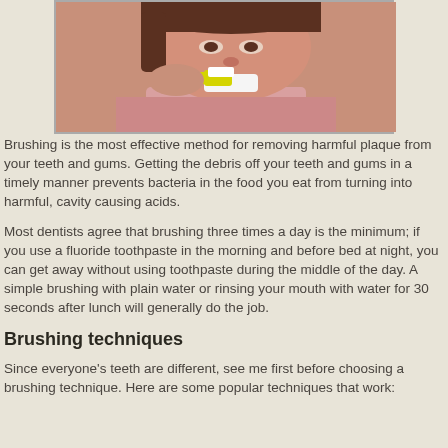[Figure (photo): A person brushing their teeth with a yellow toothbrush, close-up showing face, hand holding toothbrush, and teeth.]
Brushing is the most effective method for removing harmful plaque from your teeth and gums. Getting the debris off your teeth and gums in a timely manner prevents bacteria in the food you eat from turning into harmful, cavity causing acids.
Most dentists agree that brushing three times a day is the minimum; if you use a fluoride toothpaste in the morning and before bed at night, you can get away without using toothpaste during the middle of the day. A simple brushing with plain water or rinsing your mouth with water for 30 seconds after lunch will generally do the job.
Brushing techniques
Since everyone's teeth are different, see me first before choosing a brushing technique. Here are some popular techniques that work: